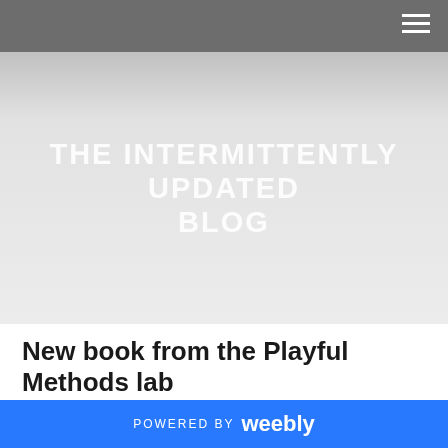THE INTERMITTENTLY UPDATED BLOG
New book from the Playful Methods lab
6/15/2022
0 Comments
POWERED BY weebly